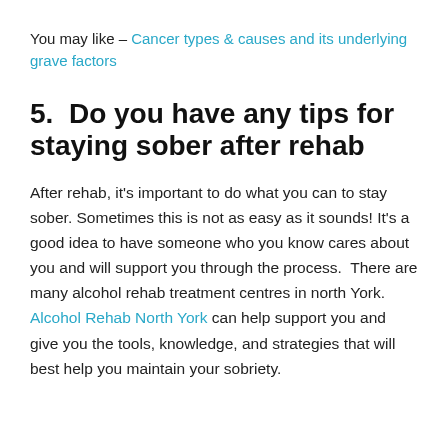You may like – Cancer types & causes and its underlying grave factors
5.  Do you have any tips for staying sober after rehab
After rehab, it's important to do what you can to stay sober. Sometimes this is not as easy as it sounds! It's a good idea to have someone who you know cares about you and will support you through the process. There are many alcohol rehab treatment centres in north York. Alcohol Rehab North York can help support you and give you the tools, knowledge, and strategies that will best help you maintain your sobriety.